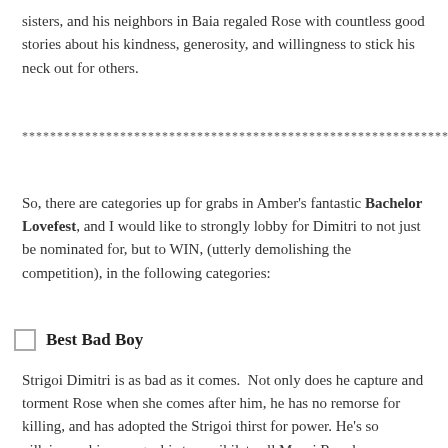sisters, and his neighbors in Baia regaled Rose with countless good stories about his kindness, generosity, and willingness to stick his neck out for others.
************************************************************************************
So, there are categories up for grabs in Amber's fantastic Bachelor Lovefest, and I would like to strongly lobby for Dimitri to not just be nominated for, but to WIN, (utterly demolishing the competition), in the following categories:
Best Bad Boy
Strigoi Dimitri is as bad as it comes.  Not only does he capture and torment Rose when she comes after him, he has no remorse for killing, and has adopted the Strigoi thirst for power. He's so villainous, his new goal is to annihilate all Moroi Royals, including Lissa.  This is not the sweet, honorable, overprotective Dimitri who said things like, "You and I